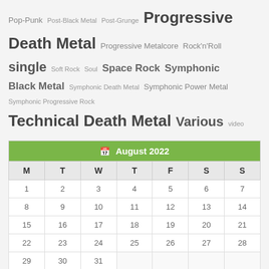Pop-Punk Post-Black Metal Post-Grunge Progressive Death Metal Progressive Metalcore Rock'n'Roll single Soft Rock Soul Space Rock Symphonic Black Metal Symphonic Death Metal Symphonic Power Metal Symphonic Progressive Rock Technical Death Metal Various video
| M | T | W | T | F | S | S |
| --- | --- | --- | --- | --- | --- | --- |
| 1 | 2 | 3 | 4 | 5 | 6 | 7 |
| 8 | 9 | 10 | 11 | 12 | 13 | 14 |
| 15 | 16 | 17 | 18 | 19 | 20 | 21 |
| 22 | 23 | 24 | 25 | 26 | 27 | 28 |
| 29 | 30 | 31 |  |  |  |  |
« Oct